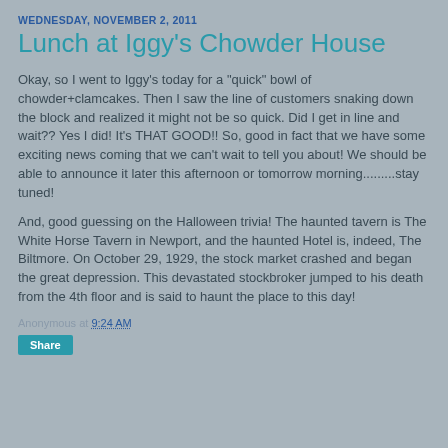WEDNESDAY, NOVEMBER 2, 2011
Lunch at Iggy's Chowder House
Okay, so I went to Iggy's today for a "quick" bowl of chowder+clamcakes. Then I saw the line of customers snaking down the block and realized it might not be so quick. Did I get in line and wait?? Yes I did! It's THAT GOOD!! So, good in fact that we have some exciting news coming that we can't wait to tell you about! We should be able to announce it later this afternoon or tomorrow morning.........stay tuned!
And, good guessing on the Halloween trivia! The haunted tavern is The White Horse Tavern in Newport, and the haunted Hotel is, indeed, The Biltmore. On October 29, 1929, the stock market crashed and began the great depression. This devastated stockbroker jumped to his death from the 4th floor and is said to haunt the place to this day!
Anonymous at 9:24 AM
Share